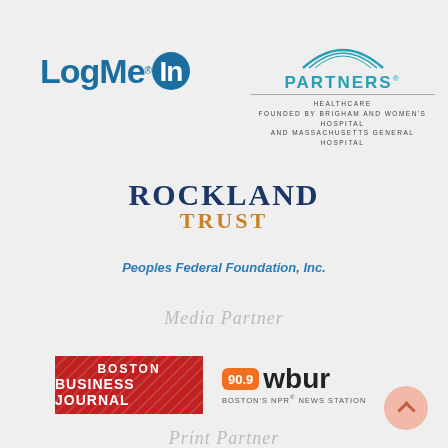[Figure (logo): LogMeIn logo with dark blue text and circular icon]
[Figure (logo): Partners Healthcare logo with teal arc, name, and hospital founding text]
[Figure (logo): Rockland Trust logo in navy and orange serif text]
[Figure (logo): Peoples Federal Foundation, Inc. text logo in blue italic]
Media Partner
[Figure (logo): Boston Business Journal logo — red rectangle with diagonal stripes and white bold text]
[Figure (logo): 90.9 WBUR Boston's NPR News Station logo with orange frequency badge]
Print Partner